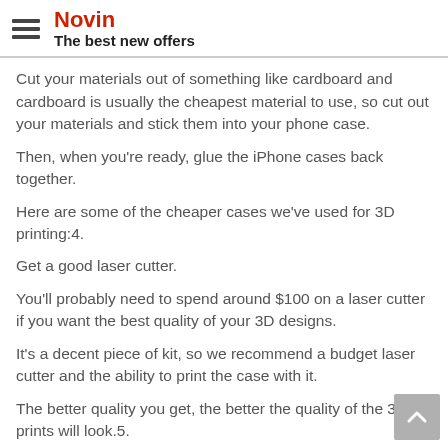Novin — The best new offers
Cut your materials out of something like cardboard and cardboard is usually the cheapest material to use, so cut out your materials and stick them into your phone case.
Then, when you're ready, glue the iPhone cases back together.
Here are some of the cheaper cases we've used for 3D printing:4.
Get a good laser cutter.
You'll probably need to spend around $100 on a laser cutter if you want the best quality of your 3D designs.
It's a decent piece of kit, so we recommend a budget laser cutter and the ability to print the case with it.
The better quality you get, the better the quality of the 3D prints will look.5.
Print your case.